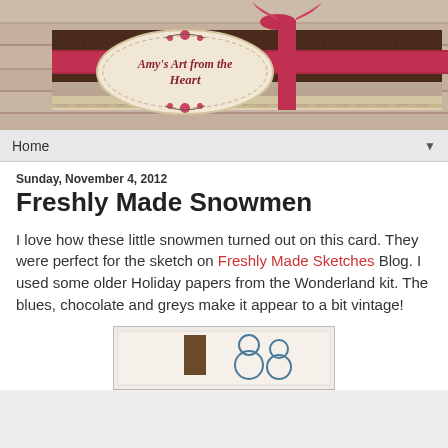[Figure (illustration): Blog header banner for 'Amy's Art from the Heart' — decorative scrapbook-style banner with wooden background texture, red ribbon, brown patterned paper, and an oval cream-colored tag with cursive text reading 'Amy's Art from the Heart' with floral decorations]
Home ▼
Sunday, November 4, 2012
Freshly Made Snowmen
I love how these little snowmen turned out on this card. They were perfect for the sketch on Freshly Made Sketches Blog. I used some older Holiday papers from the Wonderland kit. The blues, chocolate and greys make it appear to a bit vintage!
[Figure (photo): Partial view of a handmade greeting card featuring snowmen, visible at the bottom of the page, with a light background and blue snowman illustration]